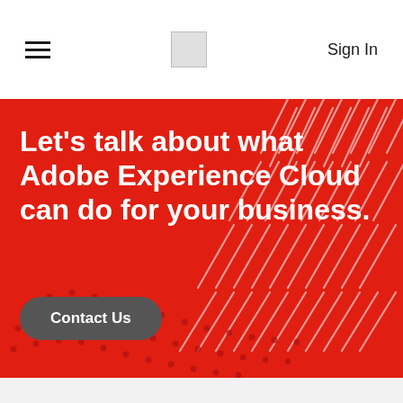≡  [logo]  Sign In
Let's talk about what Adobe Experience Cloud can do for your business.
Contact Us